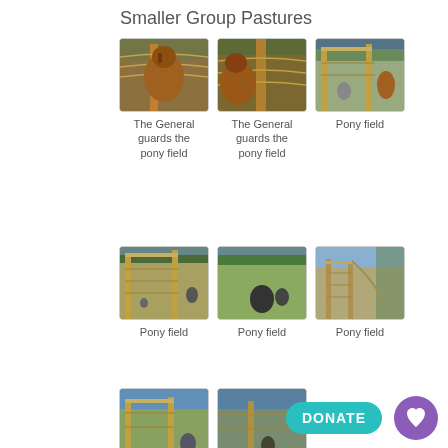Smaller Group Pastures
[Figure (photo): Horse (The General) standing behind wire fence in pasture]
The General guards the pony field
[Figure (photo): Horse (The General) standing behind wire fence, closer view]
The General guards the pony field
[Figure (photo): Pony field view through wooden fence with horses grazing]
Pony field
[Figure (photo): Pony field viewed through wooden fence]
Pony field
[Figure (photo): Horse grazing in open pony field]
Pony field
[Figure (photo): Pony field with dirt road alongside wooden fence, mountains in background]
Pony field
[Figure (photo): Pony field with trees and sky]
[Figure (photo): Pony field with horses behind fence]